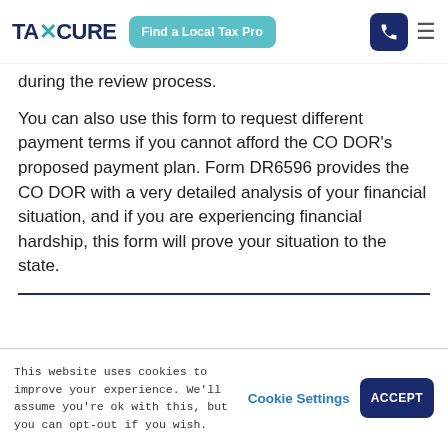TAXCURE | Find a Local Tax Pro
during the review process.
You can also use this form to request different payment terms if you cannot afford the CO DOR's proposed payment plan. Form DR6596 provides the CO DOR with a very detailed analysis of your financial situation, and if you are experiencing financial hardship, this form will prove your situation to the state.
This website uses cookies to improve your experience. We'll assume you're ok with this, but you can opt-out if you wish.
Cookie Settings
ACCEPT